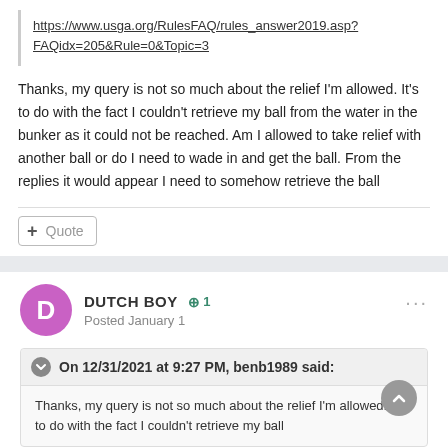https://www.usga.org/RulesFAQ/rules_answer2019.asp?FAQidx=205&Rule=0&Topic=3
Thanks, my query is not so much about the relief I'm allowed. It's to do with the fact I couldn't retrieve my ball from the water in the bunker as it could not be reached. Am I allowed to take relief with another ball or do I need to wade in and get the ball. From the replies it would appear I need to somehow retrieve the ball
Quote
DUTCH BOY +1
Posted January 1
On 12/31/2021 at 9:27 PM, benb1989 said:
Thanks, my query is not so much about the relief I'm allowed. It's to do with the fact I couldn't retrieve my ball